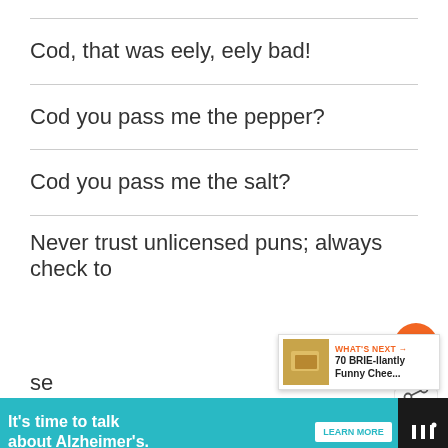Cod, that was eely, eely bad!
Cod you pass me the pepper?
Cod you pass me the salt?
Never trust unlicensed puns; always check to se...
[Figure (screenshot): Alzheimer's association advertisement banner: teal background, text 'It's time to talk about Alzheimer's.' with LEARN MORE button and logo]